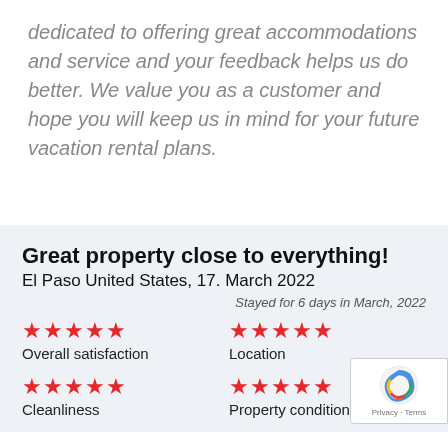dedicated to offering great accommodations and service and your feedback helps us do better. We value you as a customer and hope you will keep us in mind for your future vacation rental plans.
Great property close to everything!
El Paso United States, 17. March 2022
Stayed for 6 days in March, 2022
Overall satisfaction — 5 stars
Location — 5 stars
Cleanliness — 5 stars
Property condition — 5 stars